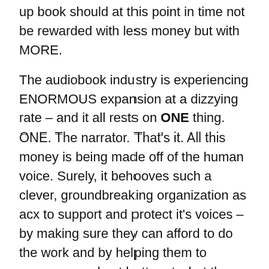up book should at this point in time not be rewarded with less money but with MORE.
The audiobook industry is experiencing ENORMOUS expansion at a dizzying rate – and it all rests on ONE thing. ONE. The narrator. That's it. All this money is being made off of the human voice. Surely, it behooves such a clever, groundbreaking organization as acx to support and protect it's voices – by making sure they can afford to do the work and by helping them to prosper – and get better at what they do.
I sincerely hope you reconsider and adjust this policy in the opposite direction – the lion's share